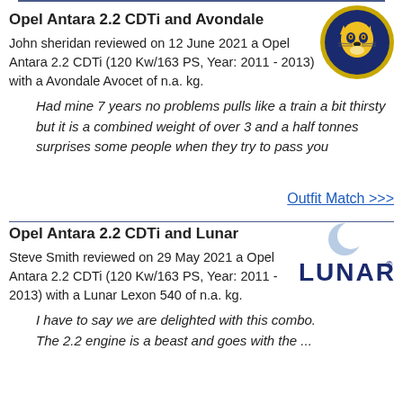Opel Antara 2.2 CDTi and Avondale
John sheridan reviewed on 12 June 2021 a Opel Antara 2.2 CDTi (120 Kw/163 PS, Year: 2011 - 2013) with a Avondale Avocet of n.a. kg.
[Figure (logo): Avondale logo - dark blue circular badge with a golden/yellow panther head]
Had mine 7 years no problems pulls like a train a bit thirsty but it is a combined weight of over 3 and a half tonnes surprises some people when they try to pass you
Outfit Match >>>
Opel Antara 2.2 CDTi and Lunar
Steve Smith reviewed on 29 May 2021 a Opel Antara 2.2 CDTi (120 Kw/163 PS, Year: 2011 - 2013) with a Lunar Lexon 540 of n.a. kg.
[Figure (logo): Lunar logo - crescent moon icon above bold LUNAR text with registered trademark]
I have to say we are delighted with this combo. The 2.2 engine is a beast and goes with the ...